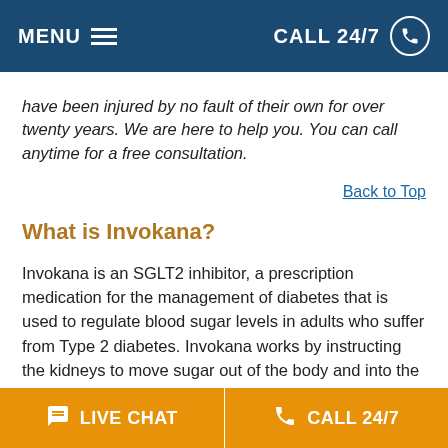MENU  CALL 24/7
have been injured by no fault of their own for over twenty years. We are here to help you. You can call anytime for a free consultation.
Back to Top
What is Invokana?
Invokana is an SGLT2 inhibitor, a prescription medication for the management of diabetes that is used to regulate blood sugar levels in adults who suffer from Type 2 diabetes. Invokana works by instructing the kidneys to move sugar out of the body and into the urine stream. In this way, it is doing the job of insulin, which is the natural product that helps your body to remove sugar and that also regulates the amount of glucose in your blood. It is not approved for or meant to treat patients who have Type 1 diabetes
LIVE CHAT  CALL 24/7